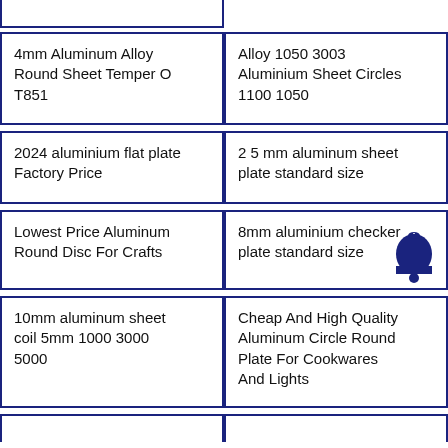| 4mm Aluminum Alloy Round Sheet Temper O T851 | Alloy 1050 3003 Aluminium Sheet Circles 1100 1050 |
| 2024 aluminium flat plate Factory Price | 2 5 mm aluminum sheet plate standard size |
| Lowest Price Aluminum Round Disc For Crafts | 8mm aluminium checker plate standard size [bell icon] |
| 10mm aluminum sheet coil 5mm 1000 3000 5000 | Cheap And High Quality Aluminum Circle Round Plate For Cookwares And Lights |